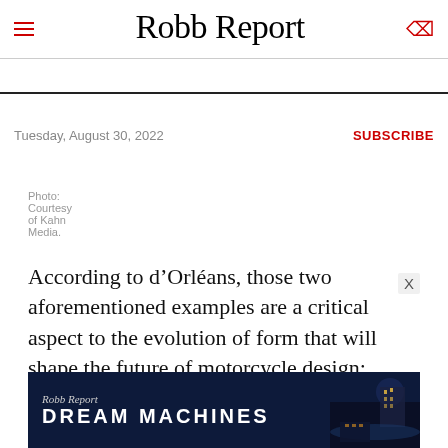Robb Report
Tuesday, August 30, 2022 | SUBSCRIBE
Photo: Courtesy of Kahn Media.
According to d’Orléans, those two aforementioned examples are a critical aspect to the evolution of form that will shape the future of motorcycle design; however, contemporary electric bikes also suggest that the traditional motorcycle aesthetic won’t disappear, either. Proof of that exists in Harley-Davidson’s EV program prototypes, including the 2020 LiveWire, which will also be on display.
[Figure (other): Robb Report Dream Machines advertisement banner with dark blue background and city lights image]